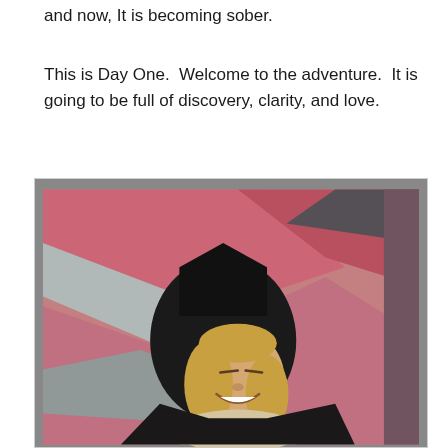and now, It is becoming sober.
This is Day One.  Welcome to the adventure.  It is going to be full of discovery, clarity, and love.
[Figure (photo): A smiling blonde woman wearing a black hooded jacket and a light scarf, photographed in front of a colorful painted wall with pink, grey/white, and black diagonal stripes.]